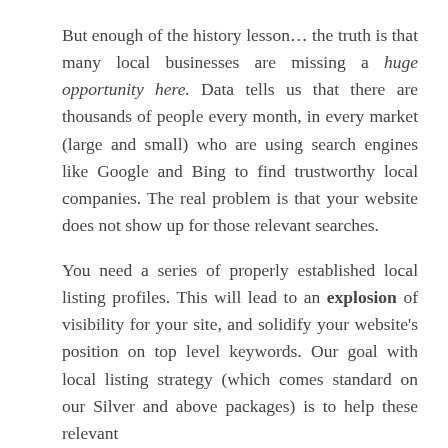But enough of the history lesson… the truth is that many local businesses are missing a huge opportunity here. Data tells us that there are thousands of people every month, in every market (large and small) who are using search engines like Google and Bing to find trustworthy local companies. The real problem is that your website does not show up for those relevant searches.

You need a series of properly established local listing profiles. This will lead to an explosion of visibility for your site, and solidify your website's position on top level keywords. Our goal with local listing strategy (which comes standard on our Silver and above packages) is to help these relevant...